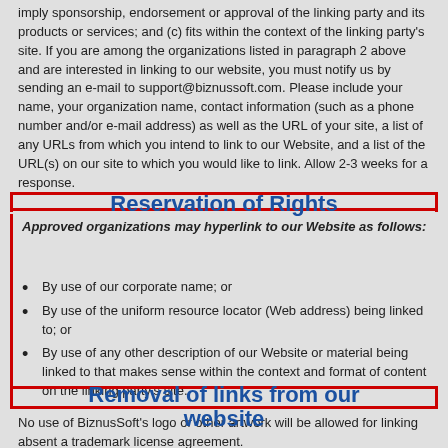imply sponsorship, endorsement or approval of the linking party and its products or services; and (c) fits within the context of the linking party's site. If you are among the organizations listed in paragraph 2 above and are interested in linking to our website, you must notify us by sending an e-mail to support@biznussoft.com. Please include your name, your organization name, contact information (such as a phone number and/or e-mail address) as well as the URL of your site, a list of any URLs from which you intend to link to our Website, and a list of the URL(s) on our site to which you would like to link. Allow 2-3 weeks for a response.
Reservation of Rights
Approved organizations may hyperlink to our Website as follows:
By use of our corporate name; or
By use of the uniform resource locator (Web address) being linked to; or
By use of any other description of our Website or material being linked to that makes sense within the context and format of content on the linking party's site.
Removal of links from our website
No use of BiznusSoft's logo or other artwork will be allowed for linking absent a trademark license agreement.